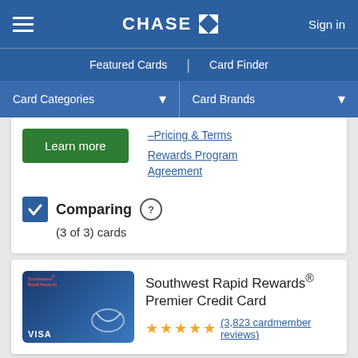CHASE | Sign in
Featured Cards | Card Finder
Card Categories ▾   Card Brands ▾
Learn more
–Pricing & Terms
Rewards Program Agreement
Comparing (3 of 3) cards
Southwest Rapid Rewards® Premier Credit Card (3,823 cardmember reviews)